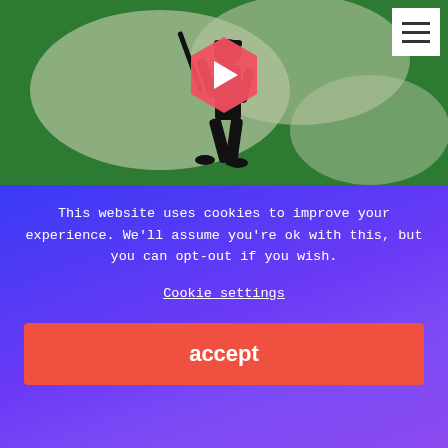[Figure (screenshot): Video thumbnail showing an animated silhouette of a soldier carrying a rifle walking against a green camouflage background, with a pink/red hexagonal play button overlay and a white hamburger menu button in the top right corner.]
This website uses cookies to improve your experience. We'll assume you're ok with this, but you can opt-out if you wish.
Cookie settings
accept